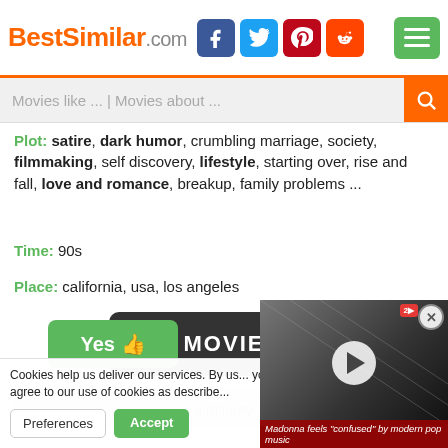BestSimilar.com
Movies like ... | Movies about ...
Plot: satire, dark humor, crumbling marriage, society, filmmaking, self discovery, lifestyle, starting over, rise and fall, love and romance, breakup, family problems ...
Time: 90s
Place: california, usa, los angeles
[Figure (other): Dark rounded rectangle button with play arrows and text MOVIE]
↕ similarity ↕
Yes 👍
Cookies help us deliver our services. By us... you agree to our use of cookies as describe...
Preferences  Accept
[Figure (photo): Video thumbnail showing a person in black outfit with play button overlay and caption: Madonna feels "confused" by modern pop music]